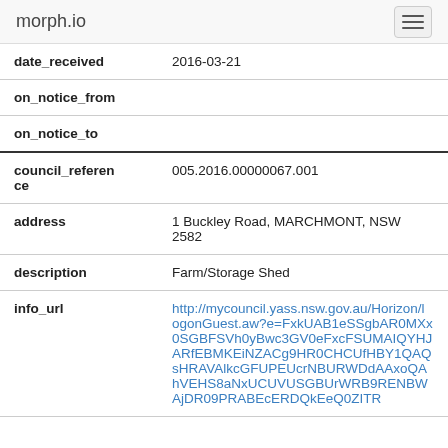morph.io
| date_received | 2016-03-21 |
| on_notice_from |  |
| on_notice_to |  |
| council_reference | 005.2016.00000067.001 |
| address | 1 Buckley Road, MARCHMONT, NSW 2582 |
| description | Farm/Storage Shed |
| info_url | http://mycouncil.yass.nsw.gov.au/Horizon/logonGuest.aw?e=FxkUAB1eSSgbAR0MXx0SGBFSVh0yBwc3GV0eFxcFSUMAIQYHJARfEBMKEiNZACg9HR0CHCUfHBY1QAQsHRAVAlkcGFUPEUcrNBURWDdAAxoQAhVEHS8aNxUCUVUSGBUrWRB9RENBWAjDR09PRABEcERDQkEeQ0ZITR |